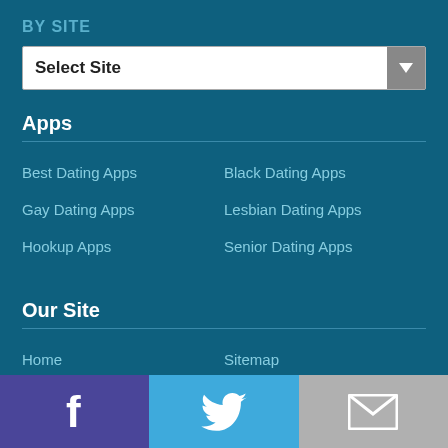BY SITE
Select Site
Apps
Best Dating Apps
Black Dating Apps
Gay Dating Apps
Lesbian Dating Apps
Hookup Apps
Senior Dating Apps
Our Site
Home
Sitemap
About Us
Privacy
[Figure (infographic): Footer bar with three social/contact icons: Facebook (purple background), Twitter (blue background), Email/envelope (gray background)]